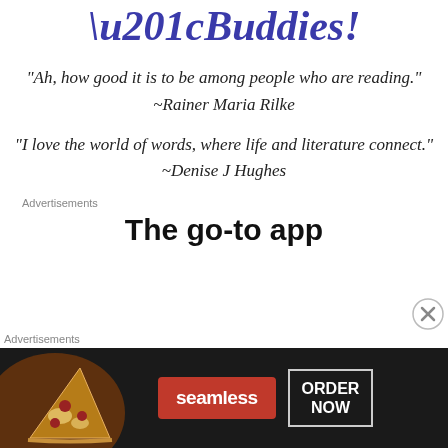“Buddies!
“Ah, how good it is to be among people who are reading.”
~Rainer Maria Rilke
“I love the world of words, where life and literature connect.”
~Denise J Hughes
Advertisements
The go-to app
Advertisements
[Figure (other): Seamless food delivery advertisement banner with pizza image, seamless logo in red, and ORDER NOW button]